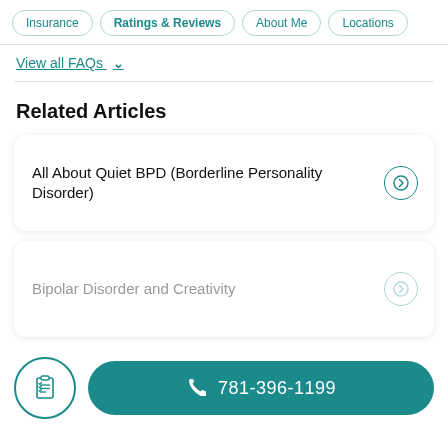Insurance | Ratings & Reviews | About Me | Locations
View all FAQs ∨
Related Articles
All About Quiet BPD (Borderline Personality Disorder)
Bipolar Disorder and Creativity
781-396-1199